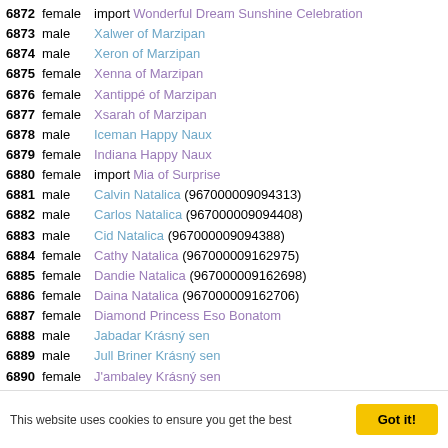6872 female import Wonderful Dream Sunshine Celebration
6873 male Xalwer of Marzipan
6874 male Xeron of Marzipan
6875 female Xenna of Marzipan
6876 female Xantippé of Marzipan
6877 female Xsarah of Marzipan
6878 male Iceman Happy Naux
6879 female Indiana Happy Naux
6880 female import Mia of Surprise
6881 male Calvin Natalica (967000009094313)
6882 male Carlos Natalica (967000009094408)
6883 male Cid Natalica (967000009094388)
6884 female Cathy Natalica (967000009162975)
6885 female Dandie Natalica (967000009162698)
6886 female Daina Natalica (967000009162706)
6887 female Diamond Princess Eso Bonatom
6888 male Jabadar Krásný sen
6889 male Jull Briner Krásný sen
6890 female J'ambaley Krásný sen
6891 female Jou-Jou Krásný sen
6892 male Jesse James Tanamera
6893 female Juantorena Tanamera
6894 female Cassandra Love Why Love York (partial)
This website uses cookies to ensure you get the best